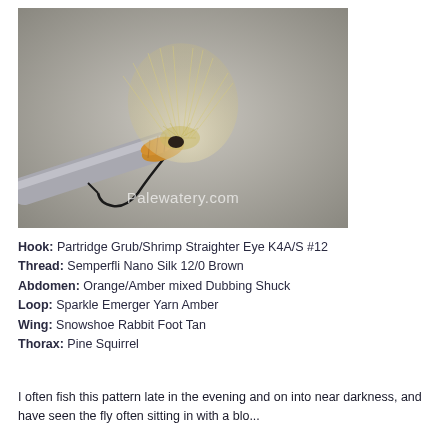[Figure (photo): Close-up macro photograph of a fly fishing lure (emerger pattern) held by forceps/pliers against a gray background. The fly features a tan/cream snowshoe rabbit wing, amber dubbing body, and a black hook. Watermark reads 'Palewatery.com'.]
Hook: Partridge Grub/Shrimp Straighter Eye K4A/S #12
Thread: Semperfli Nano Silk 12/0 Brown
Abdomen: Orange/Amber mixed Dubbing Shuck
Loop: Sparkle Emerger Yarn Amber
Wing: Snowshoe Rabbit Foot Tan
Thorax: Pine Squirrel
I often fish this pattern late in the evening and on into near darkness, and have seen the fly often sitting in with a blo...